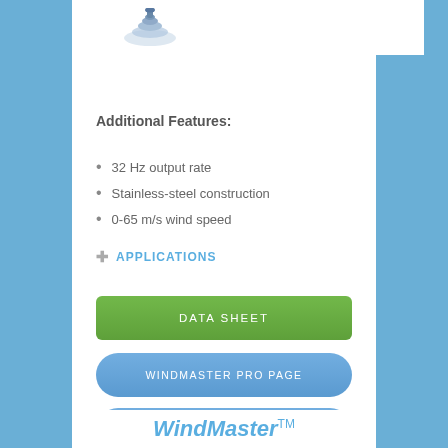[Figure (photo): Product photo of wind sensor (top portion, partially visible) against white background]
Additional Features:
32 Hz output rate
Stainless-steel construction
0-65 m/s wind speed
✚ APPLICATIONS
DATA SHEET
WINDMASTER PRO PAGE
REQUEST A QUOTE
WindMaster™